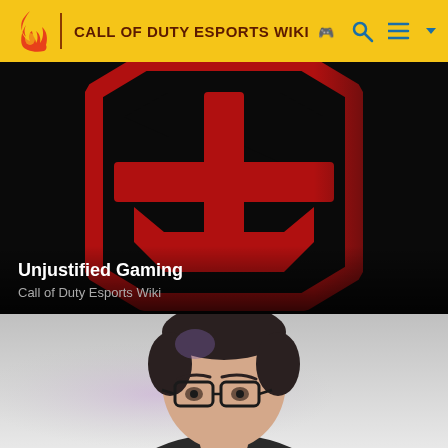CALL OF DUTY ESPORTS WIKI
[Figure (illustration): Unjustified Gaming logo — angular red and dark geometric emblem on black background]
Unjustified Gaming
Call of Duty Esports Wiki
[Figure (photo): Head and shoulders photo of a young man with dark hair wearing black-framed glasses, against a grey gradient background]